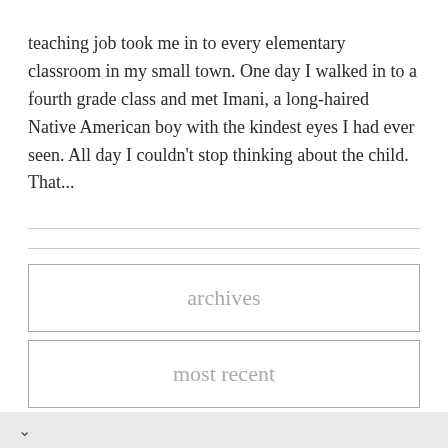teaching job took me in to every elementary classroom in my small town.  One day I walked in to a fourth grade class and met Imani, a long-haired Native American boy with the kindest eyes I had ever seen.  All day I couldn't stop thinking about the child. That...
archives
most recent
v